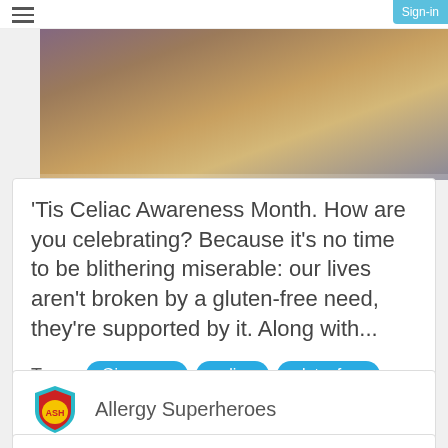[Figure (photo): Photo of a box with CINNABON branding, brown and purple tones, partially visible]
'Tis Celiac Awareness Month. How are you celebrating? Because it's no time to be blithering miserable: our lives aren't broken by a gluten-free need, they're supported by it. Along with...
Tags: Giveaway  celiac  glutenfree  soy free
[Figure (logo): Allergy Superheroes shield logo with 'ASH' initials in yellow on red shield with teal border]
Allergy Superheroes
Free2b Foods GIVEAWAY!